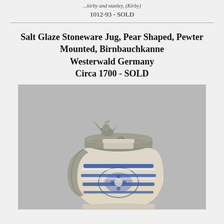1012-93 - SOLD
Salt Glaze Stoneware Jug, Pear Shaped, Pewter Mounted, Birnbauchkanne Westerwald Germany Circa 1700 - SOLD
[Figure (photo): Photo of a salt glaze stoneware jug (Birnbauchkanne) from Westerwald Germany, circa 1700. The jug is pear-shaped with blue cobalt glaze decorations and a pewter lid featuring a decorative rooster/eagle finial. The handle is pewter-mounted.]